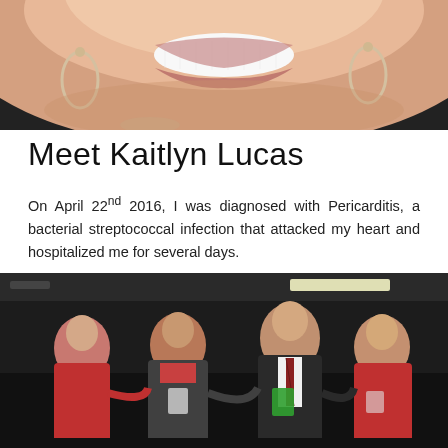[Figure (photo): Close-up photo of a smiling woman with large hoop earrings and jewelry, cropped to show lower face and smile]
Meet Kaitlyn Lucas
On April 22nd 2016, I was diagnosed with Pericarditis, a bacterial streptococcal infection that attacked my heart and hospitalized me for several days.
[Figure (photo): Group photo of four people (three women in red and one man in suit with tie) standing together at an indoor event venue]